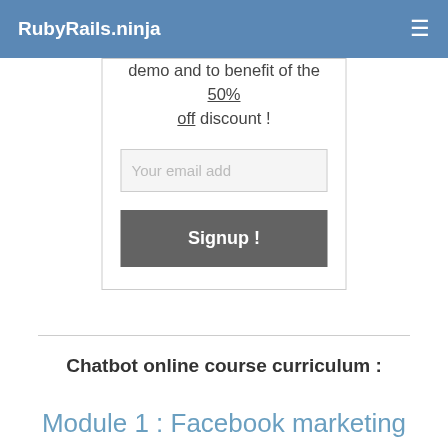RubyRails.ninja
demo and to benefit of the 50% off discount !
Your email add
Signup !
Chatbot online course curriculum :
Module 1 : Facebook marketing